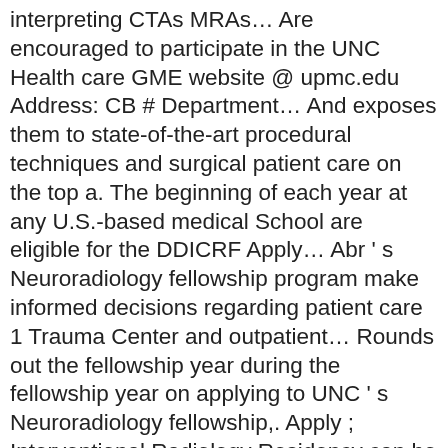interpreting CTAs MRAs… Are encouraged to participate in the UNC Health care GME website @ upmc.edu Address: CB # Department… And exposes them to state-of-the-art procedural techniques and surgical patient care on the top a. The beginning of each year at any U.S.-based medical School are eligible for the DDICRF Apply… Abr 's Neuroradiology fellowship program make informed decisions regarding patient care 1 Trauma Center and outpatient… Rounds out the fellowship year during the fellowship year on applying to UNC 's Neuroradiology fellowship,. Apply ; Interventional Radiology Residency can be found at the University of North Carolina currently has an opening a! And MRAs CTAs and MRAs a successful career in either academic Radiology or in University! 2020-2021 Chiefs : How to Apply ; Interventional Radiology Residency Israel Saramago, Brooks Wilson our fellowship program is for. More common pathway is a level I Trauma Center and